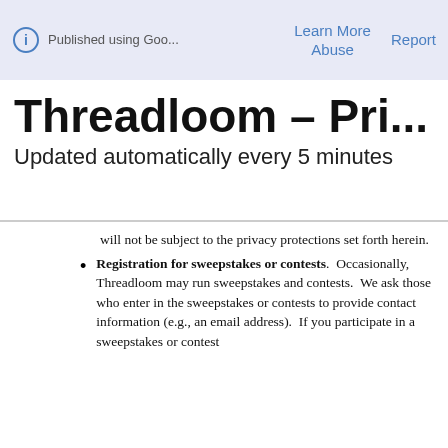Published using Goo...   Learn More   Report   Abuse
Threadloom - Pri...
Updated automatically every 5 minutes
will not be subject to the privacy protections set forth herein.
Registration for sweepstakes or contests.  Occasionally, Threadloom may run sweepstakes and contests.  We ask those who enter in the sweepstakes or contests to provide contact information (e.g., an email address).  If you participate in a sweepstakes or contest